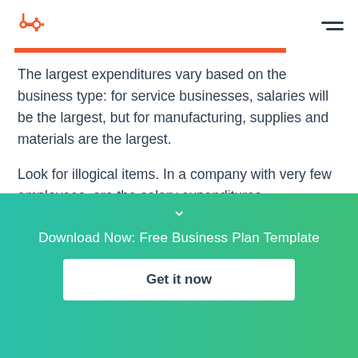HubSpot logo and hamburger menu
The largest expenditures vary based on the business type: for service businesses, salaries will be the largest, but for manufacturing, supplies and materials are the largest.
Look for illogical items. In a company with very few employees, are the salary expenditures unexpectedly high? This is something to keep an eye on.
Download Now: Free Business Plan Template
Get it now